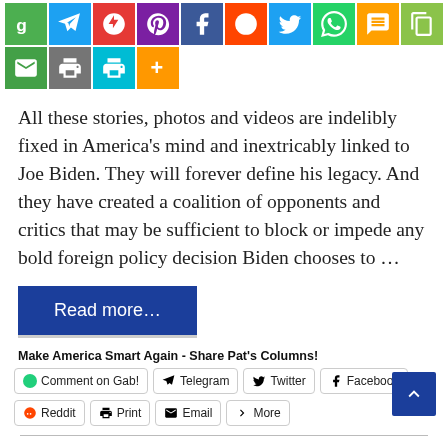[Figure (other): Row of social media sharing icon buttons: green G, blue Telegram, red Pinterest, purple Pocket, blue Facebook, orange Reddit, blue Twitter, green WhatsApp, yellow SMS, green copy-link, green email, grey print; second row: cyan print, orange more]
All these stories, photos and videos are indelibly fixed in America's mind and inextricably linked to Joe Biden. They will forever define his legacy. And they have created a coalition of opponents and critics that may be sufficient to block or impede any bold foreign policy decision Biden chooses to …
Read more…
Make America Smart Again - Share Pat's Columns!
Comment on Gab!   Telegram   Twitter   Facebook   Reddit   Print   Email   More